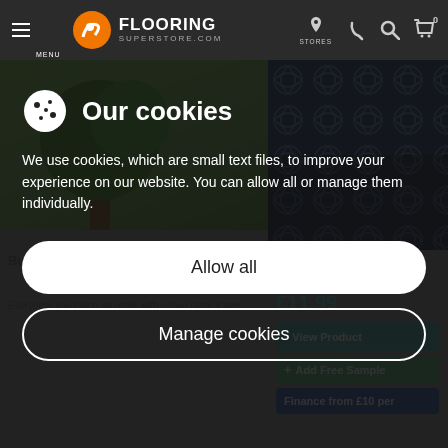MENU | FLOORING SUPERSTORE.COM | STORES
[Figure (screenshot): Flooring Superstore website screenshot showing navigation bar, product images of patterned tiles (Lapis Links) with price £11.99, View Product button, Add Free Sample button, Finance from £10 per, and a tree planting message. A cookie consent overlay is displayed on top.]
Our cookies
We use cookies, which are small text files, to improve your experience on our website. You can allow all or manage them individually.
Allow all
Manage cookies